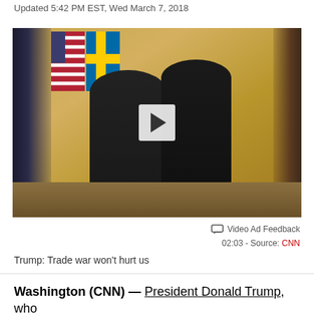Updated 5:42 PM EST, Wed March 7, 2018
[Figure (photo): Video thumbnail showing two men in dark suits standing at podiums at a White House press conference, with US and Swedish flags in the background. A play button overlay is in the center.]
Video Ad Feedback
02:03 - Source: CNN
Trump: Trade war won't hurt us
Washington (CNN) — President Donald Trump, who had been pressing staff to quickly finalize his